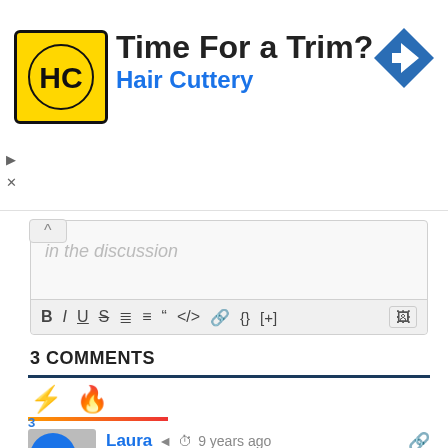[Figure (advertisement): Hair Cuttery advertisement banner with yellow logo, 'Time For a Trim?' headline, blue subtitle, and navigation arrow icon]
[Figure (screenshot): Comment editor text box with placeholder 'in the discussion' and formatting toolbar with B, I, U, S, list, quote, code, link, {}, [+] and image buttons]
3 COMMENTS
[Figure (infographic): Comment sort/filter tabs with lightning bolt (orange) and fire (red) icons with orange-red underline indicator]
Laura   9 years ago